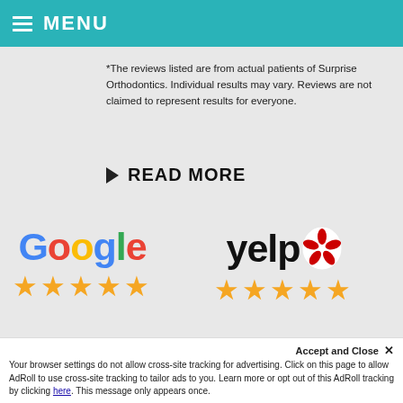MENU
*The reviews listed are from actual patients of Surprise Orthodontics. Individual results may vary. Reviews are not claimed to represent results for everyone.
READ MORE
[Figure (logo): Google logo with 5 gold stars below]
[Figure (logo): Yelp logo with red burst icon and 5 gold stars below]
[Figure (logo): Healthgrades logo (blue rectangle) and partial Facebook logo]
Accept and Close ✕
Your browser settings do not allow cross-site tracking for advertising. Click on this page to allow AdRoll to use cross-site tracking to tailor ads to you. Learn more or opt out of this AdRoll tracking by clicking here. This message only appears once.